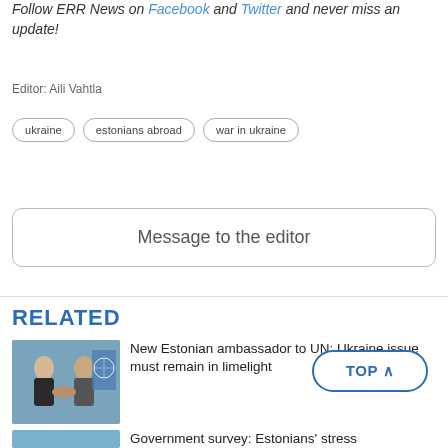Follow ERR News on Facebook and Twitter and never miss an update!
Editor: Aili Vahtla
ukraine
estonians abroad
war in ukraine
Message to the editor
RELATED
New Estonian ambassador to UN: Ukraine issue must remain in limelight
Government survey: Estonians' stress